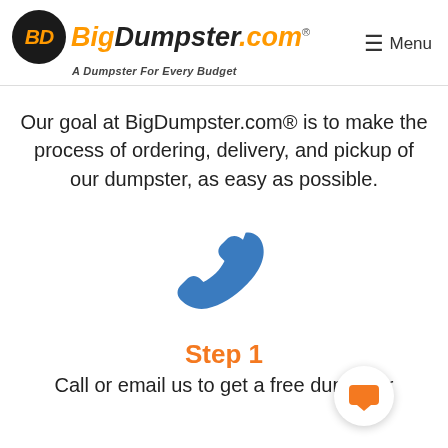BigDumpster.com — A Dumpster For Every Budget | Menu
Our goal at BigDumpster.com® is to make the process of ordering, delivery, and pickup of our dumpster, as easy as possible.
[Figure (illustration): Blue telephone handset icon]
Step 1
Call or email us to get a free dumpster